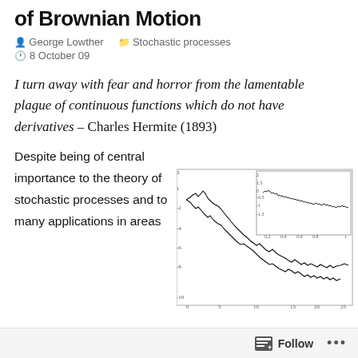of Brownian Motion
George Lowther   Stochastic processes   8 October 09
I turn away with fear and horror from the lamentable plague of continuous functions which do not have derivatives – Charles Hermite (1893)
Despite being of central importance to the theory of stochastic processes and to many applications in areas
[Figure (continuous-plot): Two overlapping line charts showing Brownian motion sample paths. The inset (top-right) shows a zoomed-in view of a segment of the path from 0 to 1 on the x-axis with y values ranging from about -1.5 to 1. The main chart shows paths from 0 to 25 on the x-axis with y values ranging from about -10 to 3.]
Follow ...